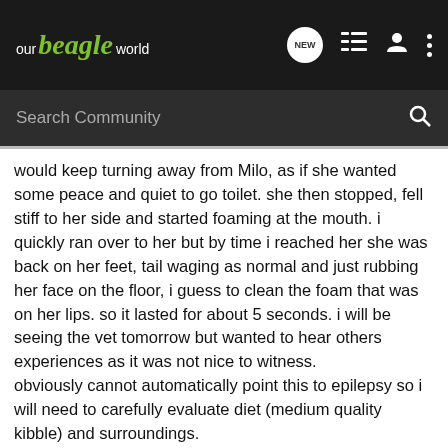our beagle world
would keep turning away from Milo, as if she wanted some peace and quiet to go toilet. she then stopped, fell stiff to her side and started foaming at the mouth. i quickly ran over to her but by time i reached her she was back on her feet, tail waging as normal and just rubbing her face on the floor, i guess to clean the foam that was on her lips. so it lasted for about 5 seconds. i will be seeing the vet tomorrow but wanted to hear others experiences as it was not nice to witness.
obviously cannot automatically point this to epilepsy so i will need to carefully evaluate diet (medium quality kibble) and surroundings.
she has been wormed recently and came out clean so i know that is not an issue, but she is quite skinny and i have been increasing her food but still unable to make her put on weight so the two may be related? i heard seisures can occurr when